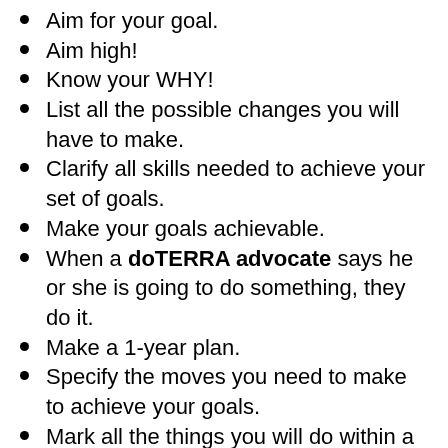Aim for your goal.
Aim high!
Know your WHY!
List all the possible changes you will have to make.
Clarify all skills needed to achieve your set of goals.
Make your goals achievable.
When a doTERRA advocate says he or she is going to do something, they do it.
Make a 1-year plan.
Specify the moves you need to make to achieve your goals.
Mark all the things you will do within a year on your calendar.
Always make assessments on your Business